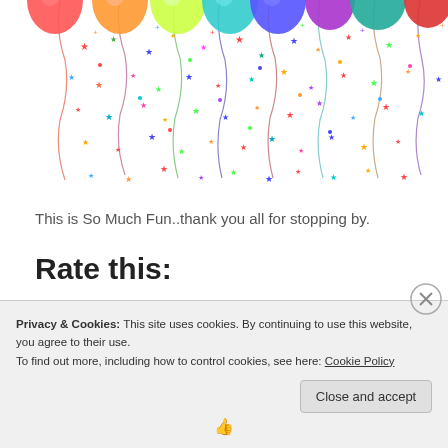[Figure (illustration): Colorful party balloons at top with dangling strings and scattered multicolored stars/confetti falling below]
This is So Much Fun..thank you all for stopping by.
Rate this:
Privacy & Cookies: This site uses cookies. By continuing to use this website, you agree to their use.
To find out more, including how to control cookies, see here: Cookie Policy